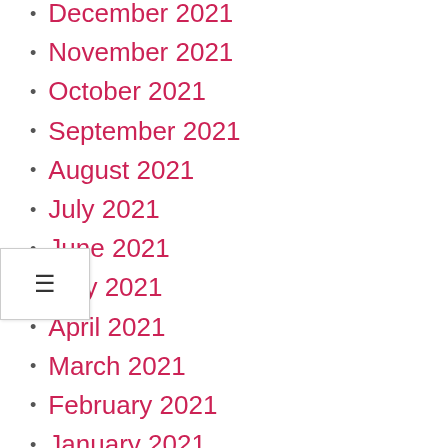December 2021
November 2021
October 2021
September 2021
August 2021
July 2021
June 2021
May 2021
April 2021
March 2021
February 2021
January 2021
December 2020
September 2020
August 2020
June 2020
May 2020
March 2020
February 2020